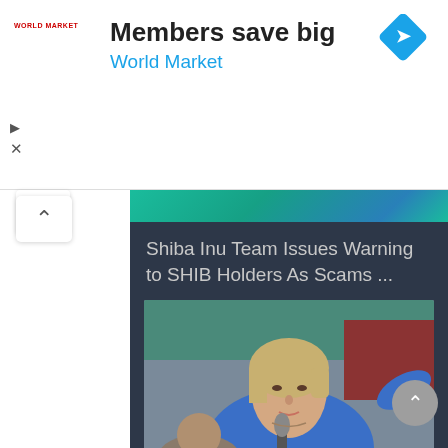[Figure (screenshot): Advertisement banner for World Market: 'Members save big' with World Market logo, blue diamond arrow icon, and ad controls (play and close buttons)]
Shiba Inu Team Issues Warning to SHIB Holders As Scams ...
[Figure (photo): Photo of Hillary Clinton speaking into a microphone, wearing a blue jacket, with arm raised in background]
Hillary Clinton Wants Exchanges to Ban Russian Users